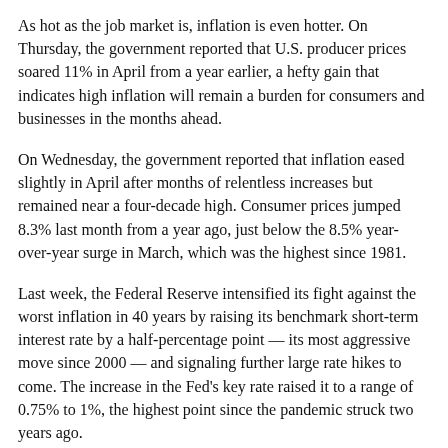As hot as the job market is, inflation is even hotter. On Thursday, the government reported that U.S. producer prices soared 11% in April from a year earlier, a hefty gain that indicates high inflation will remain a burden for consumers and businesses in the months ahead.
On Wednesday, the government reported that inflation eased slightly in April after months of relentless increases but remained near a four-decade high. Consumer prices jumped 8.3% last month from a year ago, just below the 8.5% year-over-year surge in March, which was the highest since 1981.
Last week, the Federal Reserve intensified its fight against the worst inflation in 40 years by raising its benchmark short-term interest rate by a half-percentage point — its most aggressive move since 2000 — and signaling further large rate hikes to come. The increase in the Fed's key rate raised it to a range of 0.75% to 1%, the highest point since the pandemic struck two years ago.
The Commerce Department reported last month that the U.S. economy shrank last quarter for the first time since the pandemic recession struck two years ago, contracting at a 1.4% annual rate, even as consumers and businesses kept spending in a sign of underlying resilience.